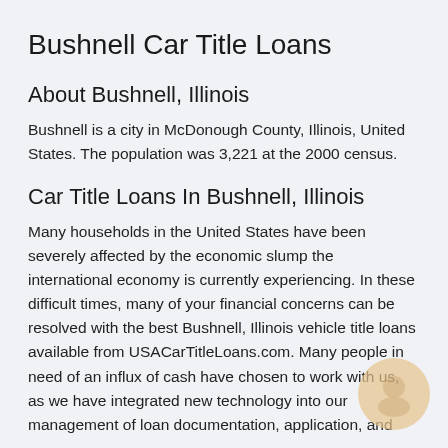Bushnell Car Title Loans
About Bushnell, Illinois
Bushnell is a city in McDonough County, Illinois, United States. The population was 3,221 at the 2000 census.
Car Title Loans In Bushnell, Illinois
Many households in the United States have been severely affected by the economic slump the international economy is currently experiencing. In these difficult times, many of your financial concerns can be resolved with the best Bushnell, Illinois vehicle title loans available from USACarTitleLoans.com. Many people in need of an influx of cash have chosen to work with us, as we have integrated new technology into our management of loan documentation, application, and